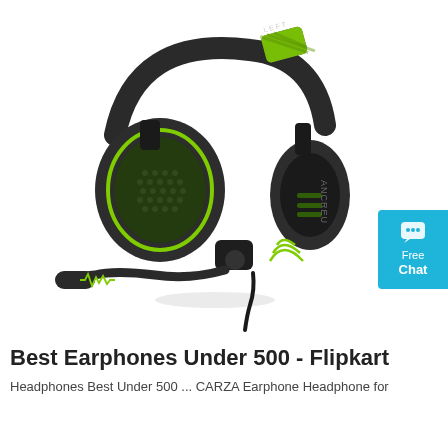[Figure (photo): ANCREU gaming headset/headphones with black body and green accents, featuring an extended microphone boom. The headset has over-ear design with mesh ear cups highlighted in green, and a green stripe on the headband. The microphone boom curves downward with a soundwave graphic on it. A 'Free Chat' badge in blue is partially visible on the right side.]
Best Earphones Under 500 - Flipkart
Headphones Best Under 500 ... CARZA Earphone Headphone for